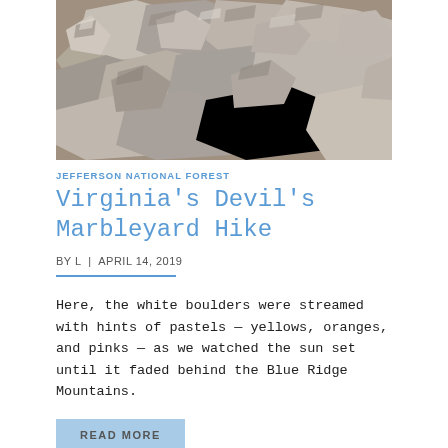[Figure (photo): Close-up photo of scattered gray and beige rocks and boulders filling the frame]
JEFFERSON NATIONAL FOREST
Virginia's Devil's Marbleyard Hike
BY L  |  APRIL 14, 2019
Here, the white boulders were streamed with hints of pastels — yellows, oranges, and pinks — as we watched the sun set until it faded behind the Blue Ridge Mountains.
READ MORE